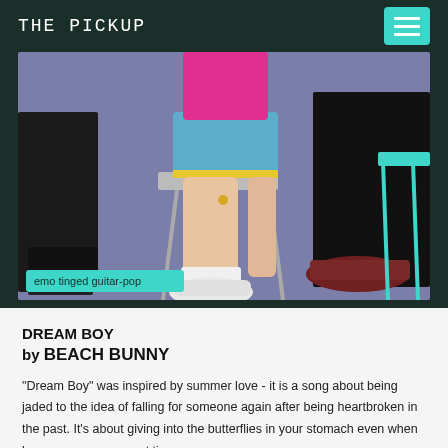THE PICKUP
[Figure (photo): Photo of people sitting on chairs, cropped to show legs and feet. A person in the center wears blue shorts with yellow trim and white sneakers. Others wear black jeans with sneakers. The background is a blue/purple floor. A teal genre label reads 'emo tinged guitar-pop'.]
emo tinged guitar-pop
DREAM BOY
by BEACH BUNNY
"Dream Boy" was inspired by summer love - it is a song about being jaded to the idea of falling for someone again after being heartbroken in the past. It's about giving into the butterflies in your stomach even when love seems so scary at times.